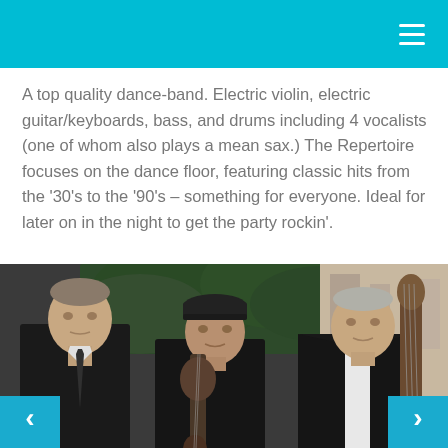A top quality dance-band. Electric violin, electric guitar/keyboards, bass, and drums including 4 vocalists (one of whom also plays a mean sax.) The Repertoire focuses on the dance floor, featuring classic hits from the '30's to the '90's – something for everyone. Ideal for later on in the night to get the party rockin'.
[Figure (photo): Three men posing outdoors. Left: tall man in dark suit and tie. Center: man in black cap holding a guitar. Right: man in white shirt with a bass/cello instrument visible. Navigation arrows on left and right sides of the photo.]